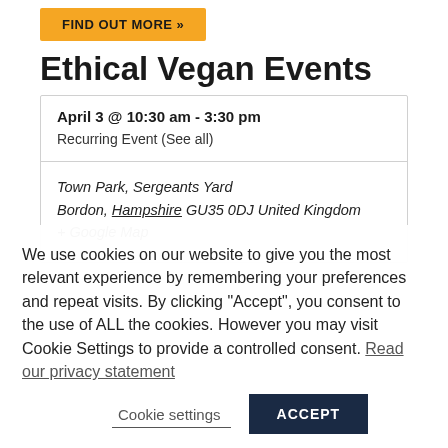FIND OUT MORE »
Ethical Vegan Events
| April 3 @ 10:30 am - 3:30 pm | Recurring Event (See all) |
| Town Park, Sergeants Yard
Bordon, Hampshire GU35 0DJ United Kingdom
+ Google Map |  |
We use cookies on our website to give you the most relevant experience by remembering your preferences and repeat visits. By clicking "Accept", you consent to the use of ALL the cookies. However you may visit Cookie Settings to provide a controlled consent. Read our privacy statement
Cookie settings
ACCEPT